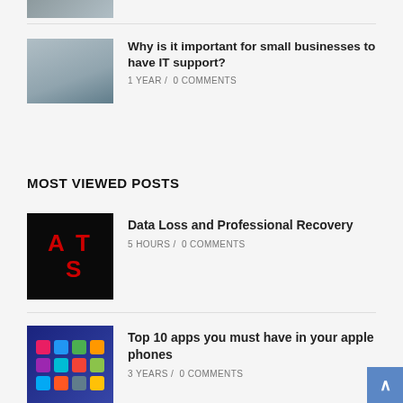[Figure (photo): Partial view of a person working at a desk, cropped at top]
[Figure (photo): Person using laptop with papers/documents on desk]
Why is it important for small businesses to have IT support?
1 YEAR /  0 COMMENTS
MOST VIEWED POSTS
[Figure (photo): Dark background with red letter A and T visible, data loss themed image]
Data Loss and Professional Recovery
5 HOURS /  0 COMMENTS
[Figure (photo): Smartphone screen showing grid of colorful app icons]
Top 10 apps you must have in your apple phones
3 YEARS /  0 COMMENTS